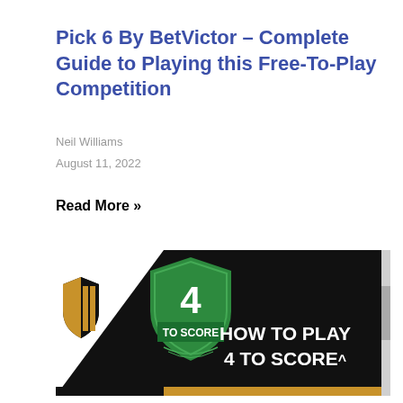Pick 6 By BetVictor – Complete Guide to Playing this Free-To-Play Competition
Neil Williams
August 11, 2022
Read More »
[Figure (illustration): Banner image showing a '4 TO SCORE' badge with a green shield logo on the left, and a black diagonal section on the right with text 'HOW TO PLAY 4 TO SCORE^'. A small football club crest (black and gold) is visible on the far left.]